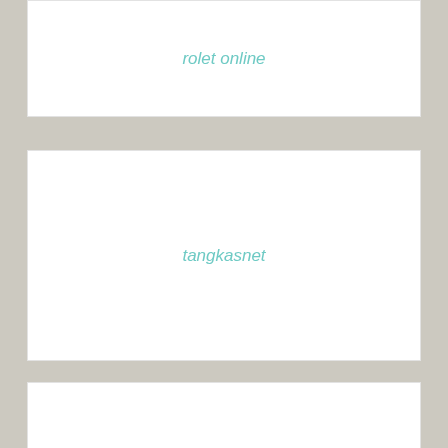rolet online
tangkasnet
baccarat online
nutritiondepotsupplements.com